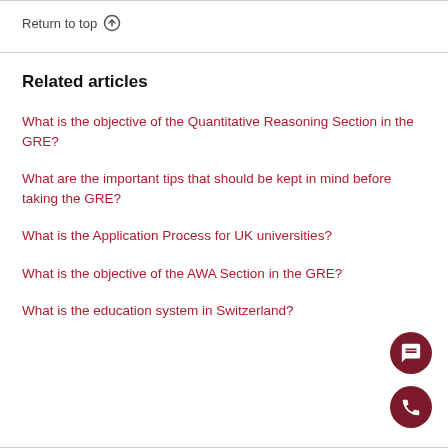Return to top ↑
Related articles
What is the objective of the Quantitative Reasoning Section in the GRE?
What are the important tips that should be kept in mind before taking the GRE?
What is the Application Process for UK universities?
What is the objective of the AWA Section in the GRE?
What is the education system in Switzerland?